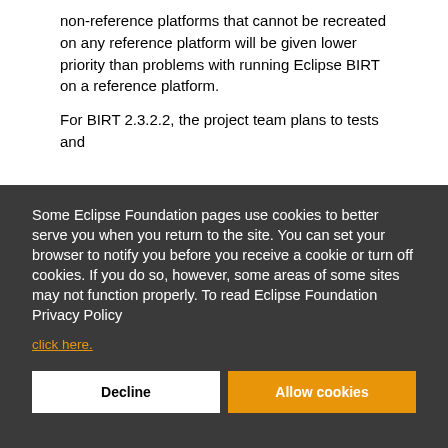non-reference platforms that cannot be recreated on any reference platform will be given lower priority than problems with running Eclipse BIRT on a reference platform.
For BIRT 2.3.2.2, the project team plans to tests and
Some Eclipse Foundation pages use cookies to better serve you when you return to the site. You can set your browser to notify you before you receive a cookie or turn off cookies. If you do so, however, some areas of some sites may not function properly. To read Eclipse Foundation Privacy Policy
click here.
Decline
Allow cookies
|  |  |  | version 5.0 |